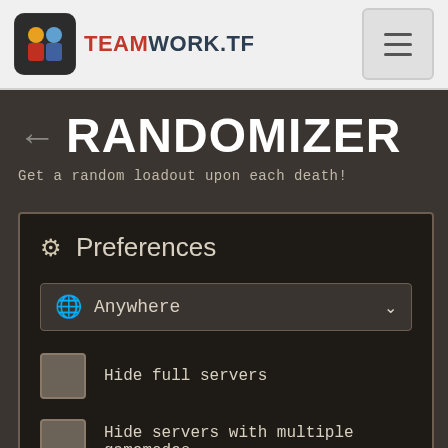TEAMWORK.TF
RANDOMIZER
Get a random loadout upon each death!
Preferences
Anywhere
Hide full servers
Hide servers with multiple gamemodes